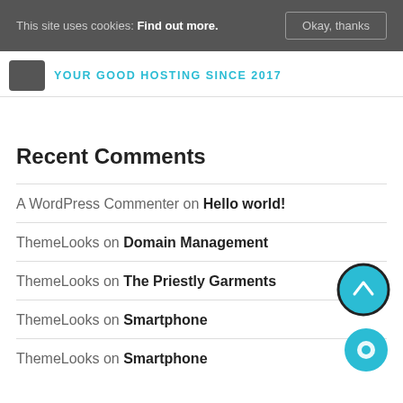This site uses cookies: Find out more. Okay, thanks
[Figure (logo): Site logo with cloud icon and tagline YOUR GOOD HOSTING SINCE 2017]
Recent Comments
A WordPress Commenter on Hello world!
ThemeLooks on Domain Management
ThemeLooks on The Priestly Garments
ThemeLooks on Smartphone
ThemeLooks on Smartphone